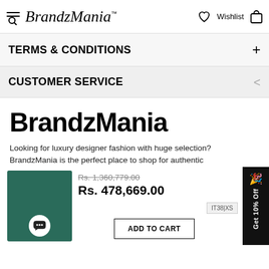BrandzMania™ | Wishlist | Cart
TERMS & CONDITIONS
CUSTOMER SERVICE
BrandzMania
Looking for luxury designer fashion with huge selection? BrandzMania is the perfect place to shop for authentic
Rs. 1,360,779.00
Rs. 478,669.00
ADD TO CART